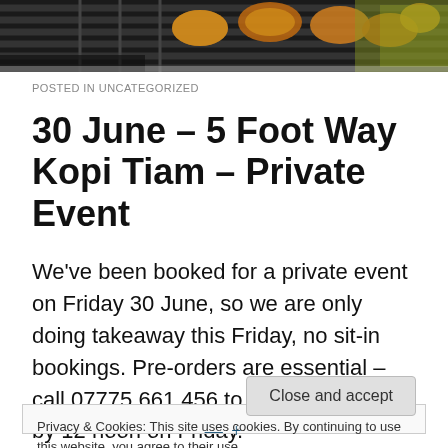[Figure (photo): Close-up photo of grilled/barbecued food items on a grill, showing charred meat skewers and what appears to be vegetables or other food items, with a yellow-green element visible at the right.]
POSTED IN UNCATEGORIZED
30 June – 5 Foot Way Kopi Tiam – Private Event
We've been booked for a private event on Friday 30 June, so we are only doing takeaway this Friday, no sit-in bookings. Pre-orders are essential – call 07775 661 456 to place your order by 12 noon on Friday.
Privacy & Cookies: This site uses cookies. By continuing to use this website, you agree to their use.
To find out more, including how to control cookies, see here: Cookie Policy